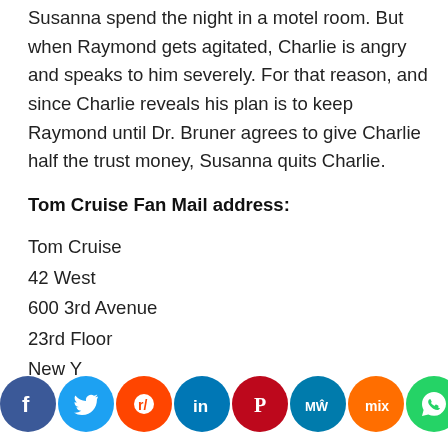Susanna spend the night in a motel room. But when Raymond gets agitated, Charlie is angry and speaks to him severely. For that reason, and since Charlie reveals his plan is to keep Raymond until Dr. Bruner agrees to give Charlie half the trust money, Susanna quits Charlie.
Tom Cruise Fan Mail address:
Tom Cruise
42 West
600 3rd Avenue
23rd Floor
New Y
[Figure (infographic): Social media sharing buttons: Facebook, Twitter, Reddit, LinkedIn, Pinterest, MeWe, Mix, WhatsApp, More]